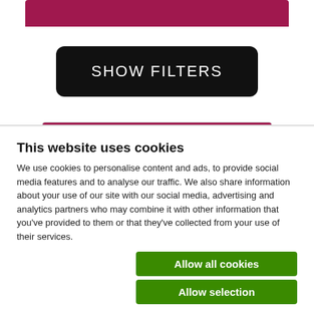[Figure (screenshot): Dark red/maroon top bar strip]
SHOW FILTERS
Type
(-) CDs
This website uses cookies
We use cookies to personalise content and ads, to provide social media features and to analyse our traffic. We also share information about your use of our site with our social media, advertising and analytics partners who may combine it with other information that you've provided to them or that they've collected from your use of their services.
Allow all cookies
Allow selection